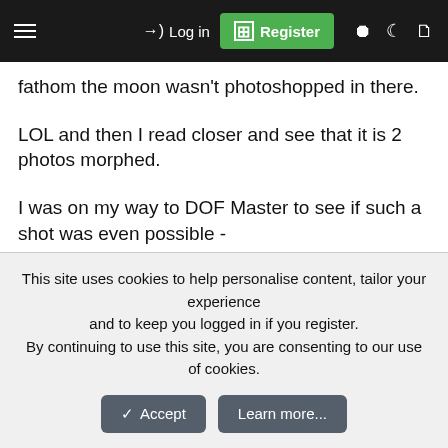[Figure (screenshot): Website navigation bar with hamburger menu, Log in link, green Register button, and icons for toggle, moon/night mode, and document]
fathom the moon wasn't photoshopped in there.
LOL and then I read closer and see that it is 2 photos morphed.
I was on my way to DOF Master to see if such a shot was even possible -
So I checked anyway - it isn't.
The bee shot is nice too -
This site uses cookies to help personalise content, tailor your experience and to keep you logged in if you register.
By continuing to use this site, you are consenting to our use of cookies.